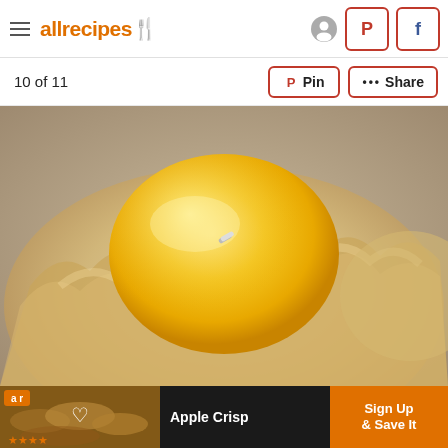allrecipes
10 of 11
[Figure (photo): Close-up photo of a thumbprint cookie filled with bright yellow lemon curd, surrounded by crinkled golden cookie edges. A small silver clip or pin is visible on the lemon filling.]
[Figure (infographic): Advertisement banner for Apple Crisp recipe. Shows a dark background with a photo of apple crisp, heart icon, star ratings, text 'Apple Crisp', and orange button reading 'Sign Up & Save It'.]